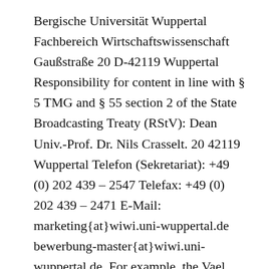Bergische Universität Wuppertal Fachbereich Wirtschaftswissenschaft Gaußstraße 20 D-42119 Wuppertal Responsibility for content in line with § 5 TMG and § 55 section 2 of the State Broadcasting Treaty (RStV): Dean Univ.-Prof. Dr. Nils Crasselt. 20 42119 Wuppertal Telefon (Sekretariat): +49 (0) 202 439 – 2547 Telefax: +49 (0) 202 439 – 2471 E-Mail: marketing{at}wiwi.uni-wuppertal.de bewerbung-master{at}wiwi.uni-wuppertal.de. For example, the Vael fight WILL leave at least 6 people dead at the end. fange im Sommersemester 2020 den Master BWL an der Uni Gießen an und wollte gerne ein paar Erfahrungen von euch hören? Du lernst verschiedene Abteilungen kennen und legst